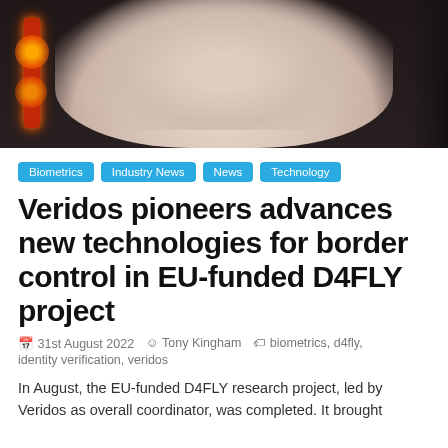[Figure (photo): A person in a light pink/beige long-sleeve top standing in front of a dark background with a red/orange glowing light bar on the left side.]
Biometrics
Industry News
News
Technology
Veridos pioneers advances new technologies for border control in EU-funded D4FLY project
31st August 2022  Tony Kingham  biometrics, d4fly, identity verification, veridos
In August, the EU-funded D4FLY research project, led by Veridos as overall coordinator, was completed. It brought